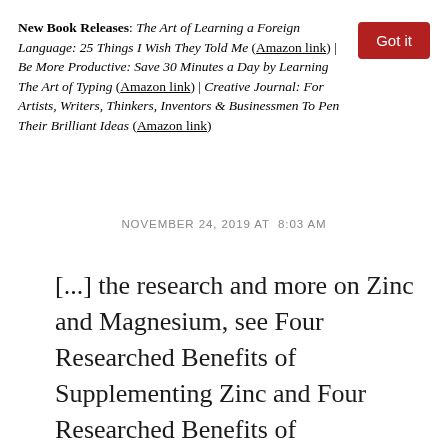New Book Releases: The Art of Learning a Foreign Language: 25 Things I Wish They Told Me (Amazon link) | Be More Productive: Save 30 Minutes a Day by Learning The Art of Typing (Amazon link) | Creative Journal: For Artists, Writers, Thinkers, Inventors & Businessmen To Pen Their Brilliant Ideas (Amazon link)
NOVEMBER 24, 2019 AT 8:03 AM
[...] the research and more on Zinc and Magnesium, see Four Researched Benefits of Supplementing Zinc and Four Researched Benefits of Supplementing Magnesium. A supplement called ZMA containing Zinc, Magnesium, and Vitamin B 6 is commonly taken before bed [...]